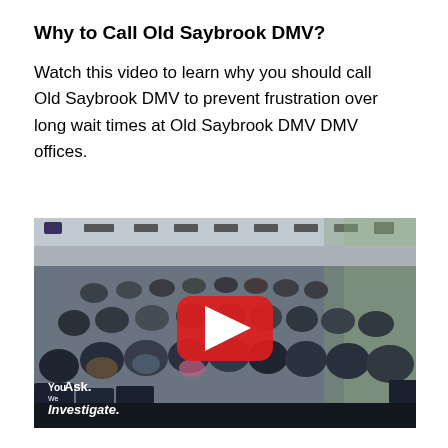Why to Call Old Saybrook DMV?
Watch this video to learn why you should call Old Saybrook DMV to prevent frustration over long wait times at Old Saybrook DMV DMV offices.
[Figure (photo): A YouTube video thumbnail showing a crowded DMV waiting room with many people seated in chairs, with a red YouTube play button overlay in the center. A watermark in the lower left reads 'You Ask. We Investigate.']